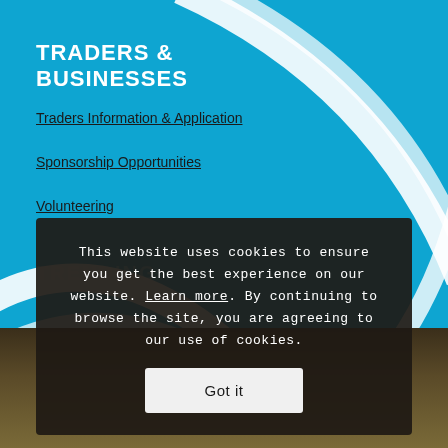TRADERS & BUSINESSES
Traders Information & Application
Sponsorship Opportunities
Volunteering
TRENDING
This website uses cookies to ensure you get the best experience on our website. Learn more. By continuing to browse the site, you are agreeing to our use of cookies.
Got it